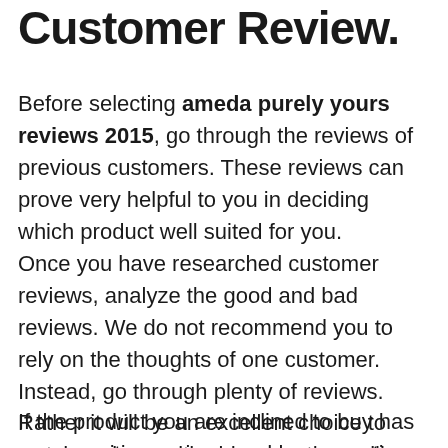Customer Review.
Before selecting ameda purely yours reviews 2015, go through the reviews of previous customers. These reviews can prove very helpful to you in deciding which product well suited for you.
Once you have researched customer reviews, analyze the good and bad reviews. We do not recommend you to rely on the thoughts of one customer. Instead, go through plenty of reviews. Rather it will be an excellent choice to watch reviews with videos as they will give you a clearer picture.
If the product you are inclined to buy has more positive reviews and less negative